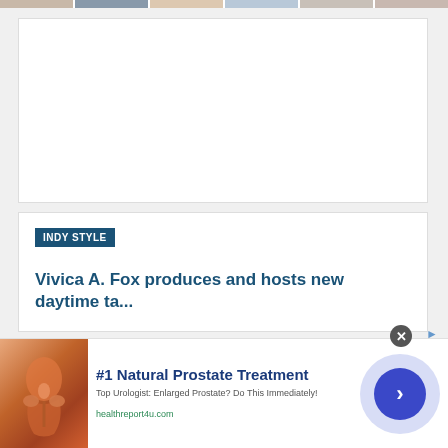[Figure (photo): Top navigation strip with thumbnail images of people]
[Figure (photo): White article card, mostly blank content area]
INDY STYLE
Vivica A. Fox produces and hosts new daytime ta...
[Figure (photo): Article image card with broken image placeholder]
[Figure (infographic): Advertisement banner: #1 Natural Prostate Treatment. Top Urologist: Enlarged Prostate? Do This Immediately! healthreport4u.com. Shows anatomical illustration and arrow button.]